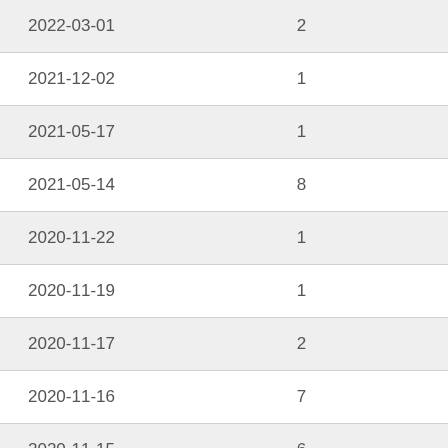| 2022-03-01 | 2 |
| 2021-12-02 | 1 |
| 2021-05-17 | 1 |
| 2021-05-14 | 8 |
| 2020-11-22 | 1 |
| 2020-11-19 | 1 |
| 2020-11-17 | 2 |
| 2020-11-16 | 7 |
| 2020-11-15 | 6 |